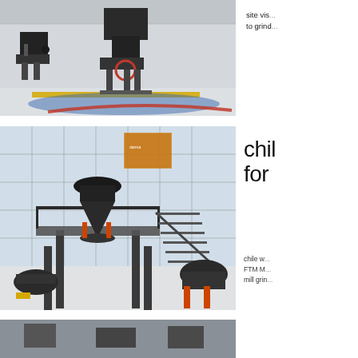[Figure (photo): Industrial grinding mill machine displayed on a factory showroom floor with colorful (yellow, blue, red) painted floor markings. A large vertical roller mill in dark grey color is prominently featured.]
site vis... to grind...
[Figure (photo): Large cone crusher or hydraulic crushing machine mounted on a steel platform/structure inside a modern industrial building with large glass windows. Additional smaller machines visible in background.]
chil for chile w... FTM M... mill grin...
[Figure (photo): Partial view of industrial machinery at the bottom of the page, showing equipment in an industrial setting.]